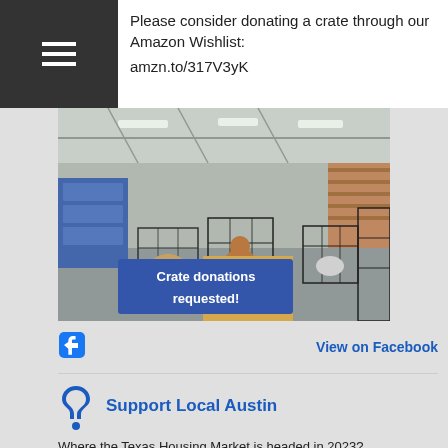Please consider donating a crate through our Amazon Wishlist:
amzn.to/317V3yK
[Figure (photo): Interior of a large warehouse or shelter space with multiple wire dog crates on the floor, several dogs visible inside crates. A blue overlay banner reads 'Crate donations requested!']
View on Facebook
Support Local Austin
Where the Texas Housing Market is headed in 2023?